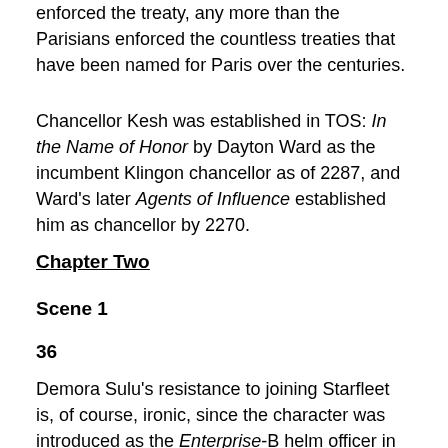enforced the treaty, any more than the Parisians enforced the countless treaties that have been named for Paris over the centuries.
Chancellor Kesh was established in TOS: In the Name of Honor by Dayton Ward as the incumbent Klingon chancellor as of 2287, and Ward's later Agents of Influence established him as chancellor by 2270.
Chapter Two
Scene 1
36
Demora Sulu's resistance to joining Starfleet is, of course, ironic, since the character was introduced as the Enterprise-B helm officer in Generations.